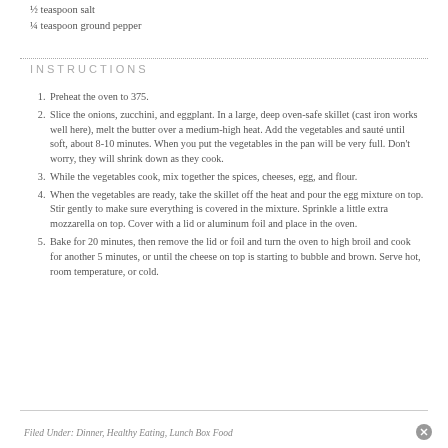½ teaspoon salt
¼ teaspoon ground pepper
INSTRUCTIONS
Preheat the oven to 375.
Slice the onions, zucchini, and eggplant. In a large, deep oven-safe skillet (cast iron works well here), melt the butter over a medium-high heat. Add the vegetables and sauté until soft, about 8-10 minutes. When you put the vegetables in the pan will be very full. Don't worry, they will shrink down as they cook.
While the vegetables cook, mix together the spices, cheeses, egg, and flour.
When the vegetables are ready, take the skillet off the heat and pour the egg mixture on top. Stir gently to make sure everything is covered in the mixture. Sprinkle a little extra mozzarella on top. Cover with a lid or aluminum foil and place in the oven.
Bake for 20 minutes, then remove the lid or foil and turn the oven to high broil and cook for another 5 minutes, or until the cheese on top is starting to bubble and brown. Serve hot, room temperature, or cold.
Filed Under: Dinner, Healthy Eating, Lunch Box Food